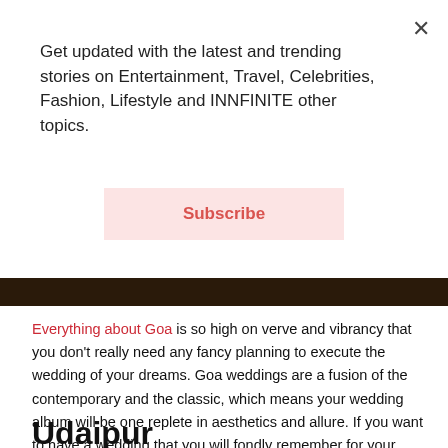Get updated with the latest and trending stories on Entertainment, Travel, Celebrities, Fashion, Lifestyle and INNFINITE other topics.
Subscribe
[Figure (photo): Dark horizontal image strip, appears to be a cropped photograph]
Everything about Goa is so high on verve and vibrancy that you don't really need any fancy planning to execute the wedding of your dreams. Goa weddings are a fusion of the contemporary and the classic, which means your wedding album will be one replete in aesthetics and allure. If you want to have a wedding that you will fondly remember for your entire lifetime, then Goa is the place to be to say “I do”!
Udaipur